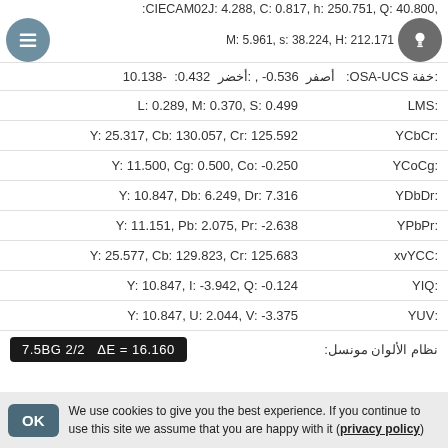:CIECAM02J: 4.288, C: 0.817, h: 250.751, Q: 40.800,
M: 5.961, s: 38.224, H: 212.171
:OSA-UCS  0.432 :أخضر ,0.536- :أصفر ,10.138- :خفة
:LMS  L: 0.289, M: 0.370, S: 0.499
:YCbCr  Y: 25.317, Cb: 130.057, Cr: 125.592
:YCoCg  Y: 11.500, Cg: 0.500, Co: -0.250
:YDbDr  Y: 10.847, Db: 6.249, Dr: 7.316
:YPbPr  Y: 11.151, Pb: 2.075, Pr: -2.638
:xvYCC  Y: 25.577, Cb: 129.823, Cr: 125.683
:YIQ  Y: 10.847, I: -3.942, Q: -0.124
:YUV  Y: 10.847, U: 2.044, V: -3.375
نظام الألوان مونسل:  7.5BG 2/2  ΔE = 16.160
We use cookies to give you the best experience. If you continue to use this site we assume that you are happy with it (privacy policy)